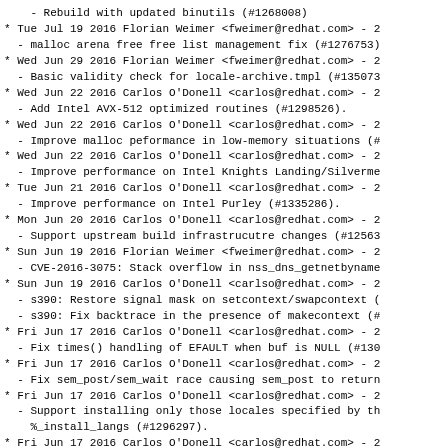- Rebuild with updated binutils (#1268008)
* Tue Jul 19 2016 Florian Weimer <fweimer@redhat.com> - 2
  - malloc arena free free list management fix (#1276753)
* Wed Jun 29 2016 Florian Weimer <fweimer@redhat.com> - 2
  - Basic validity check for locale-archive.tmpl (#135073)
* Wed Jun 22 2016 Carlos O'Donell <carlos@redhat.com> - 2
  - Add Intel AVX-512 optimized routines (#1298526).
* Wed Jun 22 2016 Carlos O'Donell <carlos@redhat.com> - 2
  - Improve malloc peformance in low-memory situations (#
* Wed Jun 22 2016 Carlos O'Donell <carlos@redhat.com> - 2
  - Improve performance on Intel Knights Landing/Silverme
* Tue Jun 21 2016 Carlos O'Donell <carlos@redhat.com> - 2
  - Improve performance on Intel Purley (#1335286).
* Mon Jun 20 2016 Carlos O'Donell <carlos@redhat.com> - 2
  - Support upstream build infrastrucutre changes (#12563)
* Sun Jun 19 2016 Florian Weimer <fweimer@redhat.com> - 2
  - CVE-2016-3075: Stack overflow in nss_dns_getnetbyname
* Sun Jun 19 2016 Carlos O'Donell <carlso@redhat.com> - 2
  - s390: Restore signal mask on setcontext/swapcontext (
  - s390: Fix backtrace in the presence of makecontext (#)
* Fri Jun 17 2016 Carlos O'Donell <carlos@redhat.com> - 2
  - Fix times() handling of EFAULT when buf is NULL (#130)
* Fri Jun 17 2016 Carlos O'Donell <carlos@redhat.com> - 2
  - Fix sem_post/sem_wait race causing sem_post to return
* Fri Jun 17 2016 Carlos O'Donell <carlos@redhat.com> - 2
  - Support installing only those locales specified by th
    %_install_langs (#1296297).
* Fri Jun 17 2016 Carlos O'Donell <carlos@redhat.com> - 2
  - Fix Linux kernel UAPI header synchronization for IPv6
* Fri Jun 17 2016 Florian Weimer <fweimer@redhat.com> - 2